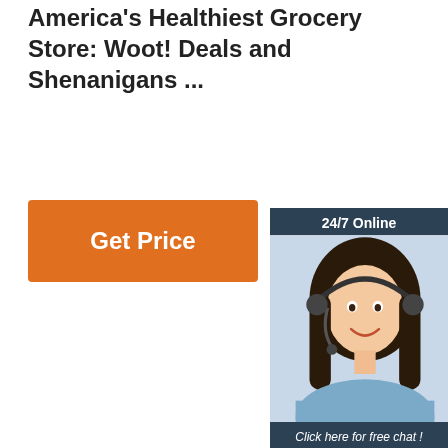America's Healthiest Grocery Store: Woot! Deals and Shenanigans ...
[Figure (other): Orange 'Get Price' button]
[Figure (other): Customer support chat widget with '24/7 Online' header, photo of female agent with headset, 'Click here for free chat!' text, and orange QUOTATION button]
[Figure (photo): Photo of a jewelry necklace displayed on a white 'THANK YOU' card with a smiley face, alongside a 'TOP' logo in orange]